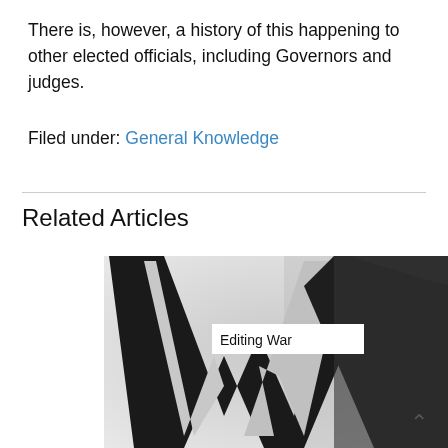There is, however, a history of this happening to other elected officials, including Governors and judges.
Filed under: General Knowledge
Related Articles
[Figure (photo): Wikipedia logo (large W letter) with overlay label 'Editing War']
Editing War